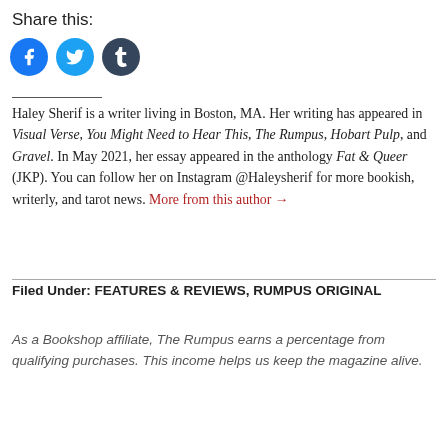Share this:
[Figure (other): Social share icons: Facebook (blue circle with f), Twitter (light blue circle with bird), Tumblr (dark circle with t)]
Haley Sherif is a writer living in Boston, MA. Her writing has appeared in Visual Verse, You Might Need to Hear This, The Rumpus, Hobart Pulp, and Gravel. In May 2021, her essay appeared in the anthology Fat & Queer (JKP). You can follow her on Instagram @Haleysherif for more bookish, writerly, and tarot news. More from this author →
Filed Under: FEATURES & REVIEWS, RUMPUS ORIGINAL
As a Bookshop affiliate, The Rumpus earns a percentage from qualifying purchases. This income helps us keep the magazine alive.